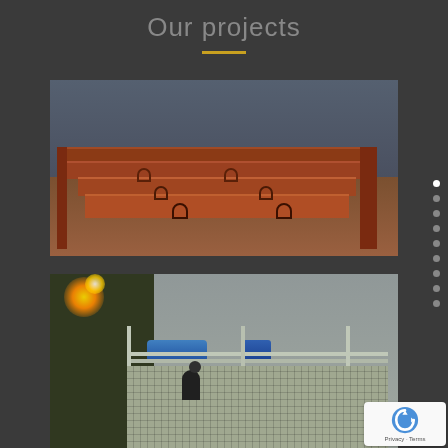Our projects
[Figure (photo): Industrial workshop showing multiple red-oxide painted steel I-beams or box beams laid out in rows on a factory floor, with lifting hooks/lugs welded on top.]
[Figure (photo): Industrial site showing welding sparks, blue hydraulic or pneumatic piping, galvanized metal scaffolding/grating platform with workers below.]
[Figure (other): reCAPTCHA badge with Privacy and Terms links]